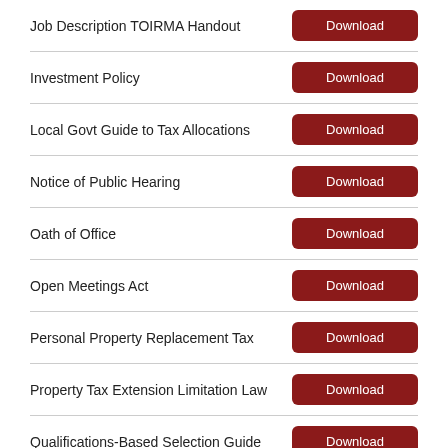Job Description TOIRMA Handout
Investment Policy
Local Govt Guide to Tax Allocations
Notice of Public Hearing
Oath of Office
Open Meetings Act
Personal Property Replacement Tax
Property Tax Extension Limitation Law
Qualifications-Based Selection Guide
Sample Meeting Agenda